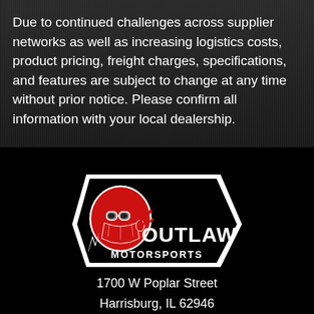Due to continued challenges across supplier networks as well as increasing logistics costs, product pricing, freight charges, specifications, and features are subject to change at any time without prior notice. Please confirm all information with your local dealership.
[Figure (logo): Outlaw Motorsports logo featuring a masked outlaw character in red with white-outlined badge shape and bold white text reading OUTLAW MOTORSPORTS]
1700 W Poplar Street
Harrisburg, IL 62946